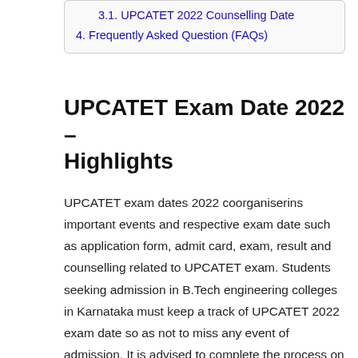3.1. UPCATET 2022 Counselling Date
4. Frequently Asked Question (FAQs)
UPCATET Exam Date 2022 – Highlights
UPCATET exam dates 2022 coorganiserins important events and respective exam date such as application form, admit card, exam, result and counselling related to UPCATET exam. Students seeking admission in B.Tech engineering colleges in Karnataka must keep a track of UPCATET 2022 exam date so as not to miss any event of admission. It is advised to complete the process on or before the UPCATET exam dates 2022. The UPCATET 2022 will be held in a pen and paper-